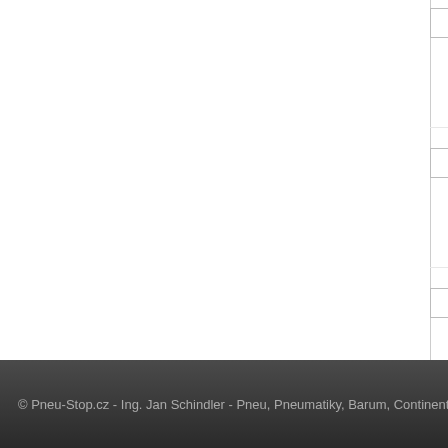Pirelli PZERO NERO GT 22...
Pirelli PZERO 225/45 R17 zes...
Kumho PS71 225/45 R17 zes...
© Pneu-Stop.cz - Ing. Jan Schindler - Pneu, Pneumatiky, Barum, Continental, Mi...